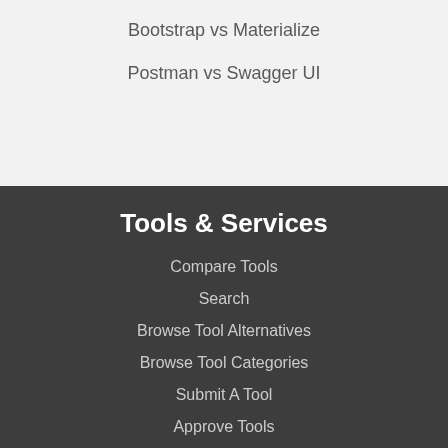Bootstrap vs Materialize
Postman vs Swagger UI
Tools & Services
Compare Tools
Search
Browse Tool Alternatives
Browse Tool Categories
Submit A Tool
Approve Tools
Stories & Blog